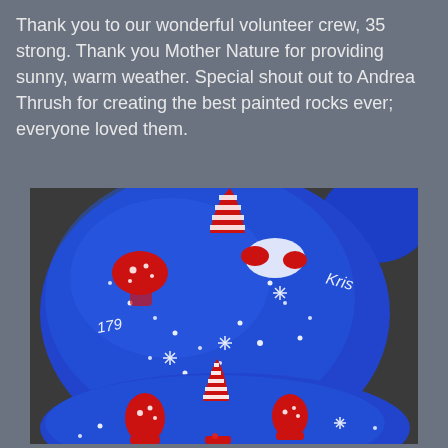Thank you to our wonderful volunteer crew, 35 strong. Thank you Mother Nature for providing sunny, warm weather. Special shout out to Andrea Thrush for creating the best painted rocks ever; everyone loved them.
[Figure (photo): Close-up photograph of blue painted rocks decorated with red and white gnome/Christmas designs, snowflakes, and text. The main rock in the foreground is a large round blue rock with painted red gnomes wearing striped and polka-dot hats, white snowflakes, and the text 'Kris' and '179'. A second blue rock is visible in the lower portion with similar gnome designs.]